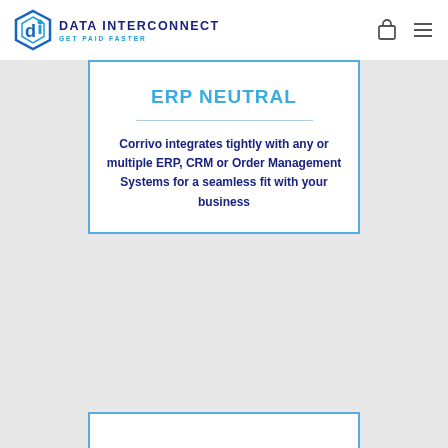[Figure (logo): Data Interconnect logo with hexagon icon and text 'DATA INTERCONNECT GET PAID FASTER']
ERP NEUTRAL
Corrivo integrates tightly with any or multiple ERP, CRM or Order Management Systems for a seamless fit with your business